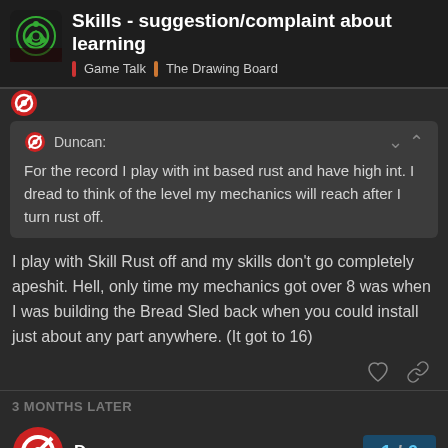Skills - suggestion/complaint about learning | Game Talk | The Drawing Board
Duncan:
For the record I play with int based rust and have high int. I dread to think of the level my mechanics will reach after I turn rust off.
I play with Skill Rust off and my skills don't go completely apeshit. Hell, only time my mechanics got over 8 was when I was building the Bread Sled back when you could install just about any part anywhere. (It got to 16)
3 MONTHS LATER
Duncan  1 / 6